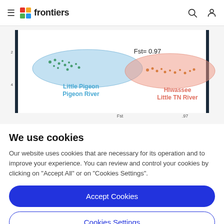frontiers
[Figure (scatter-plot): Scatter plot showing two population clusters: 'Little Pigeon / Pigeon River' in blue (left) and 'Hiwassee / Little TN River' in salmon/pink (right), with Fst= 0.97 labeled]
We use cookies
Our website uses cookies that are necessary for its operation and to improve your experience. You can review and control your cookies by clicking on "Accept All" or on "Cookies Settings".
Accept Cookies
Cookies Settings